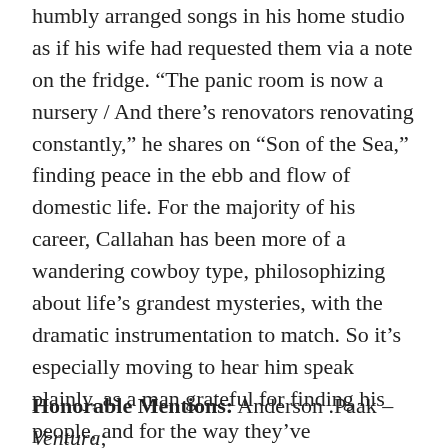humbly arranged songs in his home studio as if his wife had requested them via a note on the fridge. “The panic room is now a nursery / And there’s renovators renovating constantly,” he shares on “Son of the Sea,” finding peace in the ebb and flow of domestic life. For the majority of his career, Callahan has been more of a wandering cowboy type, philosophizing about life’s grandest mysteries, with the dramatic instrumentation to match. So it’s especially moving to hear him speak plainly, as a man grateful for finding his people, and for the way they’ve shepherded him home. “True love is not magic / It’s certainty,” he declares in his rich, incomparable basso. I’m certain that Ms. Austen would agree.
Honorable Mentions: Anderson .Paak – Ventura;